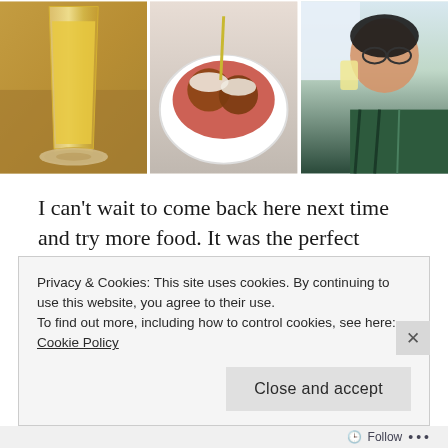[Figure (photo): Three food/drink photos side by side: left shows a yellow mimosa/beer in a tall glass on a wooden table with a coaster, center shows a bowl of meatballs in red sauce with melted cheese, right shows a woman in a patterned top drinking from a glass.]
I can't wait to come back here next time and try more food. It was the perfect ending to a week well spent!
Privacy & Cookies: This site uses cookies. By continuing to use this website, you agree to their use.
To find out more, including how to control cookies, see here:
Cookie Policy